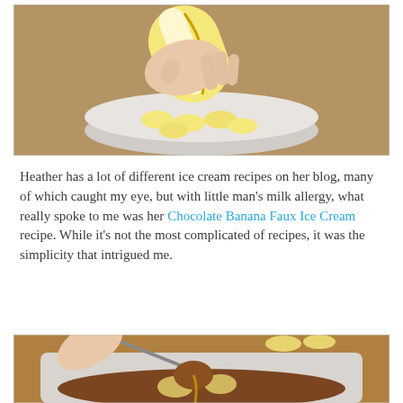[Figure (photo): A hand peeling a banana over a bowl of sliced banana pieces on a wooden surface.]
Heather has a lot of different ice cream recipes on her blog, many of which caught my eye, but with little man's milk allergy, what really spoke to me was her Chocolate Banana Faux Ice Cream recipe. While it's not the most complicated of recipes, it was the simplicity that intrigued me.
[Figure (photo): A hand holding a measuring spoon drizzling honey or syrup over a container of chocolate banana ice cream mixture with banana slices.]